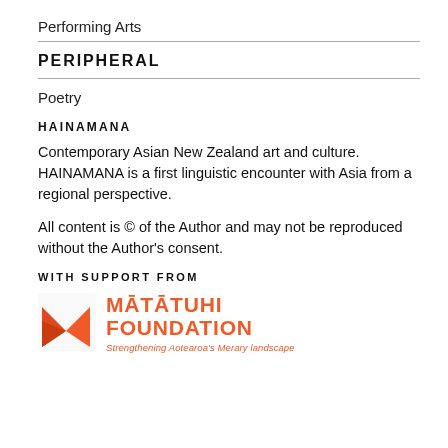Performing Arts
PERIPHERAL
Poetry
HAINAMANA
Contemporary Asian New Zealand art and culture. HAINAMANA is a first linguistic encounter with Asia from a regional perspective.
All content is © of the Author and may not be reproduced without the Author's consent.
WITH SUPPORT FROM
[Figure (logo): Mātatuhi Foundation logo — orange origami-style arrow/chevron icon beside bold orange text reading MĀTATUHI FOUNDATION with tagline Strengthening Aotearoa's Merary landscape]